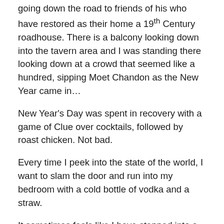going down the road to friends of his who have restored as their home a 19th Century roadhouse.  There is a balcony looking down into the tavern area and I was standing there looking down at a crowd that seemed like a hundred, sipping Moet Chandon as the New Year came in…
New Year's Day was spent in recovery with a game of Clue over cocktails, followed by roast chicken.  Not bad.
Every time I peek into the state of the world, I want to slam the door and run into my bedroom with a cold bottle of vodka and a straw.
It sometimes feels like I have stepped into a Jean Cocteau film.
Hours after I exchanged e-mails with a friend who lives in Istanbul, working for Sony Pictures, there was a nightclub